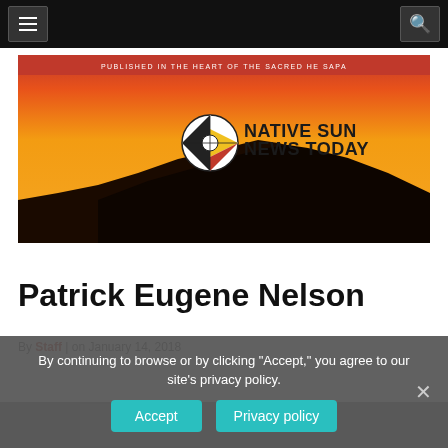Navigation bar with menu and search buttons
[Figure (illustration): Native Sun News Today banner with orange/yellow gradient sunset sky, mountain silhouette, compass-rose logo, and tagline 'PUBLISHED IN THE HEART OF THE SACRED HE SAPA']
Patrick Eugene Nelson
By Staff | on January 14, 2018
By continuing to browse or by clicking "Accept," you agree to our site's privacy policy.
Accept   Privacy policy